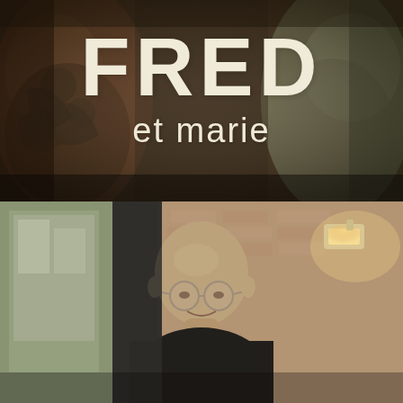[Figure (photo): Top half: close-up cinematic photo of two people facing each other, blurred, warm brownish tones. Large title text 'FRED et marie' overlaid in cream/beige color.]
FRED et marie
[Figure (photo): Bottom half: photo of a bald older man with round glasses wearing a black top, standing in a doorway or between dark architectural elements, with a brick wall and warm interior lighting visible behind him.]